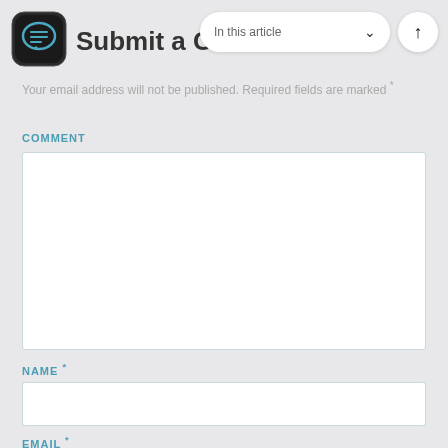[Figure (logo): Circular logo with speech bubble / chat icon in teal/blue color]
Submit a Comment
[Figure (screenshot): In this article dropdown pill with chevron down icon and up arrow button]
Your email address will not be published. Required fields are marked *
COMMENT
[Figure (other): Empty comment textarea input box]
NAME *
[Figure (other): Empty name text input box]
EMAIL *